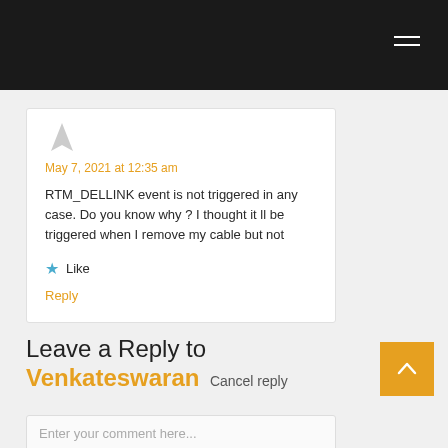May 7, 2021 at 12:35 am
RTM_DELLINK event is not triggered in any case. Do you know why ? I thought it ll be triggered when I remove my cable but not
Like
Reply
Leave a Reply to Venkateswaran Cancel reply
Enter your comment here...